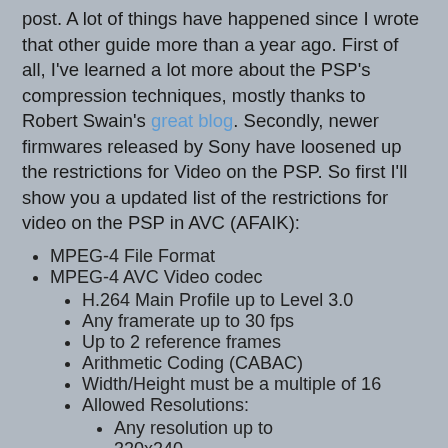post. A lot of things have happened since I wrote that other guide more than a year ago. First of all, I've learned a lot more about the PSP's compression techniques, mostly thanks to Robert Swain's great blog. Secondly, newer firmwares released by Sony have loosened up the restrictions for Video on the PSP. So first I'll show you a updated list of the restrictions for video on the PSP in AVC (AFAIK):
MPEG-4 File Format
MPEG-4 AVC Video codec
H.264 Main Profile up to Level 3.0
Any framerate up to 30 fps
Up to 2 reference frames
Arithmetic Coding (CABAC)
Width/Height must be a multiple of 16
Allowed Resolutions:
Any resolution up to 320x240